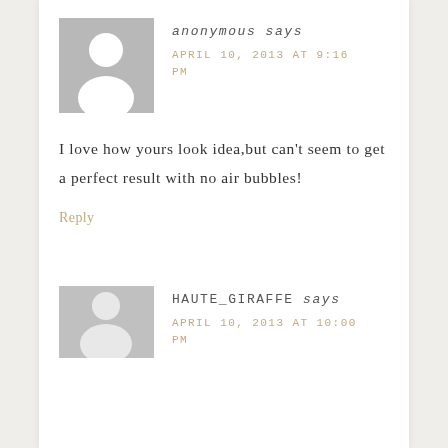[Figure (illustration): Generic anonymous user avatar: gray square background with white silhouette of a person (circle head, rounded shoulders)]
anonymous says
APRIL 10, 2013 AT 9:16 PM
I love how yours look idea,but can't seem to get a perfect result with no air bubbles!
Reply
[Figure (illustration): Generic user avatar for HAUTE_GIRAFFE: gray rectangle, partially visible, with white silhouette of a person]
HAUTE_GIRAFFE says
APRIL 10, 2013 AT 10:00 PM